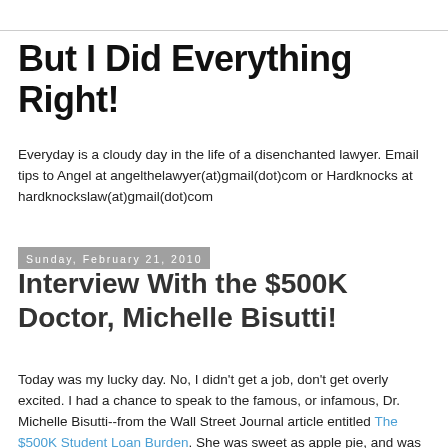But I Did Everything Right!
Everyday is a cloudy day in the life of a disenchanted lawyer. Email tips to Angel at angelthelawyer(at)gmail(dot)com or Hardknocks at hardknockslaw(at)gmail(dot)com
Sunday, February 21, 2010
Interview With the $500K Doctor, Michelle Bisutti!
Today was my lucky day. No, I didn't get a job, don't get overly excited. I had a chance to speak to the famous, or infamous, Dr. Michelle Bisutti--from the Wall Street Journal article entitled The $500K Student Loan Burden. She was sweet as apple pie, and was very excited to reach out and talk to my readers, who have also suffered from the student loan scam. I spoke to her on the phone and I tried my best to quote her verbatim. Excuse me, Michelle, if I didn't get it